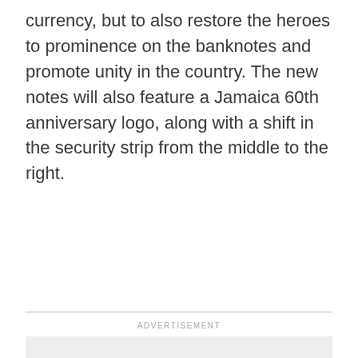currency, but to also restore the heroes to prominence on the banknotes and promote unity in the country. The new notes will also feature a Jamaica 60th anniversary logo, along with a shift in the security strip from the middle to the right.
[Figure (other): Advertisement placeholder block with 'ADVERTISEMENT' label above a light gray rectangle]